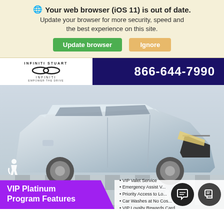🌐 Your web browser (iOS 11) is out of date. Update your browser for more security, speed and the best experience on this site.
Update browser | Ignore
[Figure (screenshot): Infiniti Stuart dealership webpage showing a silver Infiniti QX60 SUV. Header shows dealer logo and phone number 866-644-7990 on dark blue background. Bottom shows VIP Platinum Program Features banner and feature list.]